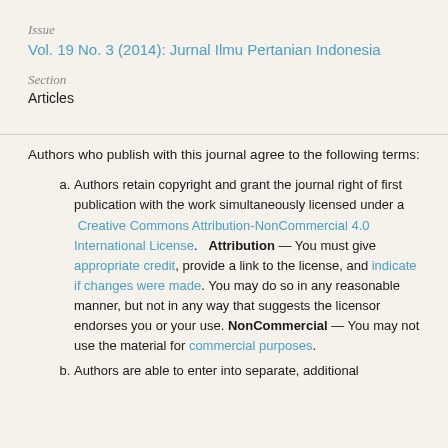Issue
Vol. 19 No. 3 (2014): Jurnal Ilmu Pertanian Indonesia
Section
Articles
Authors who publish with this journal agree to the following terms:
Authors retain copyright and grant the journal right of first publication with the work simultaneously licensed under a Creative Commons Attribution-NonCommercial 4.0 International License. Attribution — You must give appropriate credit, provide a link to the license, and indicate if changes were made. You may do so in any reasonable manner, but not in any way that suggests the licensor endorses you or your use. NonCommercial — You may not use the material for commercial purposes.
Authors are able to enter into separate, additional